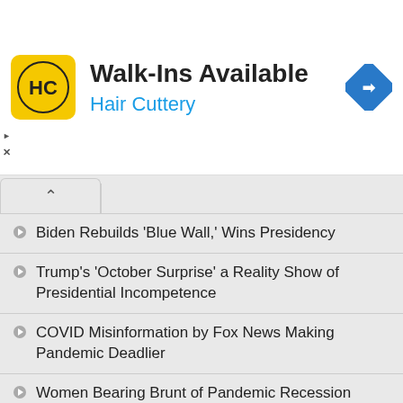[Figure (other): Hair Cuttery advertisement banner with yellow logo showing HC initials, text 'Walk-Ins Available' and 'Hair Cuttery', and a blue navigation diamond icon]
Biden Rebuilds 'Blue Wall,' Wins Presidency
Trump's 'October Surprise' a Reality Show of Presidential Incompetence
COVID Misinformation by Fox News Making Pandemic Deadlier
Women Bearing Brunt of Pandemic Recession
Four Awesome Bruce Springsteen Covers
DeVos Hand in Rigging School Pandemic Relief Formula Gets Caught in Cookie Jar
After Phenomenal Success, Cat Stevens Hit the 'Road to Find...